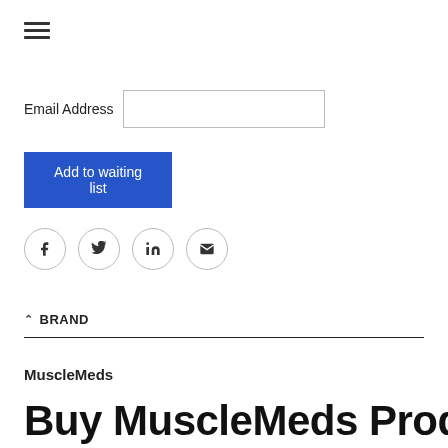[Figure (other): Hamburger menu icon (three horizontal lines)]
Email Address
[Figure (other): Email address input field]
Add to waiting list
[Figure (other): Social sharing icons: Facebook, Twitter, LinkedIn, Email]
BRAND
MuscleMeds
Buy MuscleMeds Products